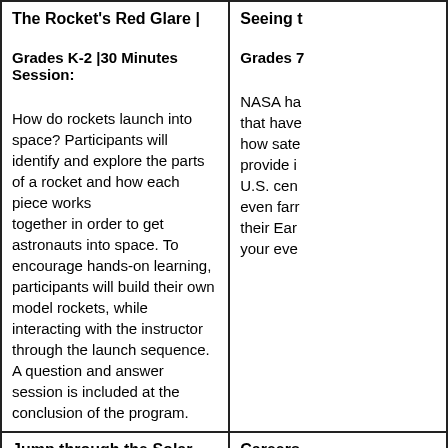The Rocket's Red Glare |
Grades K-2 |30 Minutes Session:
How do rockets launch into space? Participants will identify and explore the parts of a rocket and how each piece works together in order to get astronauts into space. To encourage hands-on learning, participants will build their own model rockets, while interacting with the instructor through the launch sequence. A question and answer session is included at the conclusion of the program.
Seeing t
Grades 7
NASA ha that have how sate provide i U.S. cen even farr their Ear your eve
Jump through the Solar System |
Grades K-2 | 30 Minute Session:
What exactly is in our solar system? Participants will interactively explore the interesting facts about the sun, planets and their orbits. Through poems and songs, participants will gain basic knowledge about each planet and its place in the solar system.
Careers
Grades C
What do in comme may have high-prof paths tha many op not all ro science!